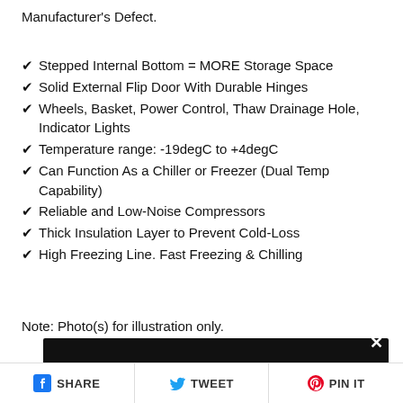Manufacturer's Defect.
Stepped Internal Bottom = MORE Storage Space
Solid External Flip Door With Durable Hinges
Wheels, Basket, Power Control, Thaw Drainage Hole, Indicator Lights
Temperature range: -19degC to +4degC
Can Function As a Chiller or Freezer (Dual Temp Capability)
Reliable and Low-Noise Compressors
Thick Insulation Layer to Prevent Cold-Loss
High Freezing Line. Fast Freezing & Chilling
Note: Photo(s) for illustration only.
SHARE   TWEET   PIN IT